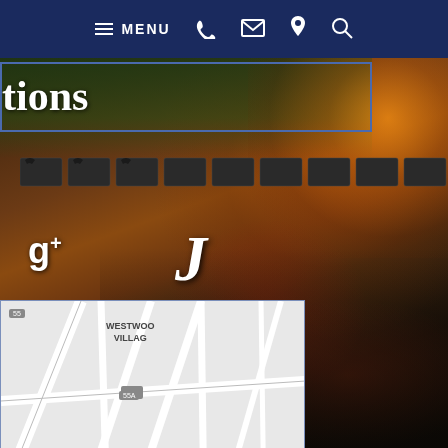[Figure (screenshot): Website screenshot showing navigation bar with MENU hamburger icon, phone icon, envelope/email icon, location pin icon, and search icon on dark navy background. Below is a partial heading text 'tions' visible with blue border box overlay. Background shows a night city scene with blurred bokeh lights in orange and red tones. A Google+ (g+) icon and italic J letter are overlaid on the background. Lower left shows a partial Google Maps embed showing Westwood Village area with address '20 Wilshire Boulevard #900' and street labels including 'Kinshaw Blvd', 'Ohio Ave', 'SAWTELLE'.]